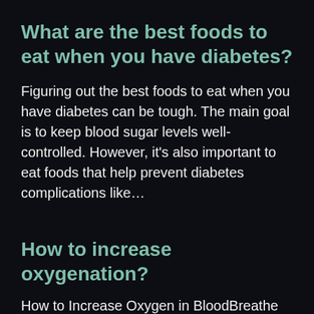What are the best foods to eat when you have diabetes?
Figuring out the best foods to eat when you have diabetes can be tough. The main goal is to keep blood sugar levels well-controlled. However, it's also important to eat foods that help prevent diabetes complications like&hellip;
How to increase oxygenation?
How to Increase Oxygen in BloodBreathe Fresh Air.Exercise Regularly.Improve Your Posture.Lose Weight.Eat Foods that Increase…